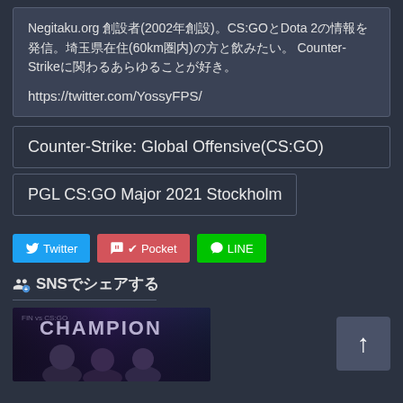Negitaku.org 創設者(2002年創設)。CS:GOとDota 2の情報を発信。埼玉県在住(60km圏内)の方と飲みたい。 Counter-Strikeに関わるあらゆることが好き。
https://twitter.com/YossyFPS/
Counter-Strike: Global Offensive(CS:GO)
PGL CS:GO Major 2021 Stockholm
Twitter
✔ Pocket
LINE
SNSでシェアする
[Figure (photo): Photo showing CHAMPION text with people below it, likely esports event imagery]